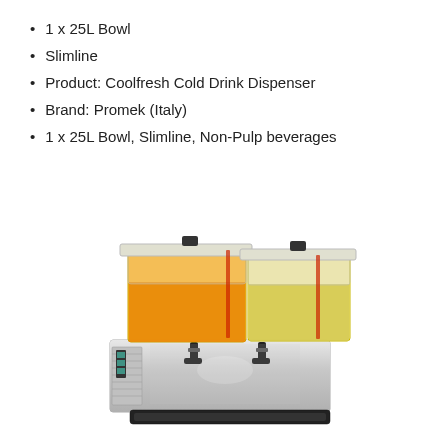1 x 25L Bowl
Slimline
Product: Coolfresh Cold Drink Dispenser
Brand: Promek (Italy)
1 x 25L Bowl, Slimline, Non-Pulp beverages
[Figure (photo): A Promek Coolfresh Cold Drink Dispenser with two transparent bowls, one filled with orange juice and one with a lighter yellow beverage, sitting on a stainless steel base with dispensing taps and a drip tray.]